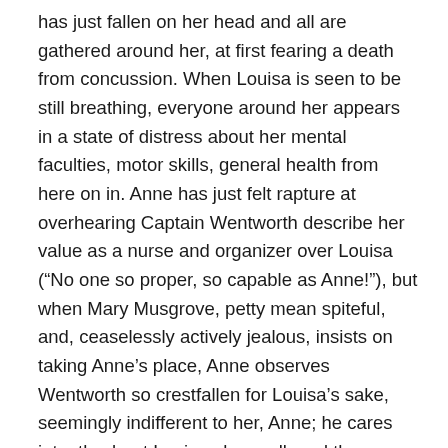has just fallen on her head and all are gathered around her, at first fearing a death from concussion. When Louisa is seen to be still breathing, everyone around her appears in a state of distress about her mental faculties, motor skills, general health from here on in. Anne has just felt rapture at overhearing Captain Wentworth describe her value as a nurse and organizer over Louisa (“No one so proper, so capable as Anne!”), but when Mary Musgrove, petty mean spiteful, and, ceaselessly actively jealous, insists on taking Anne’s place, Anne observes Wentworth so crestfallen for Louisa’s sake, seemingly indifferent to her, Anne; he cares intently about Louisa above all, and the “mortifying” conviction arises in Anne’s mind that she was “valued only as she could be useful to Louisa.” Prior again comes to Austen’s mind as partly narrator partly Anne: